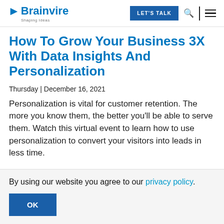Brainvire Shaping Ideas | LET'S TALK
How To Grow Your Business 3X With Data Insights And Personalization
Thursday | December 16, 2021
Personalization is vital for customer retention. The more you know them, the better you'll be able to serve them. Watch this virtual event to learn how to use personalization to convert your visitors into leads in less time.
By using our website you agree to our privacy policy.